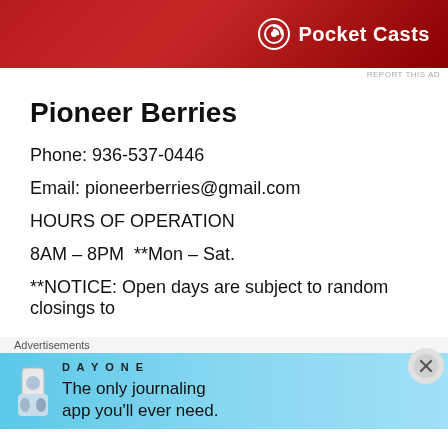[Figure (screenshot): Pocket Casts advertisement banner with red gradient background and white Pocket Casts logo and text]
REPORT THIS AD
Pioneer Berries
Phone: 936-537-0446
Email: pioneerberries@gmail.com
HOURS OF OPERATION
8AM – 8PM  **Mon – Sat.
**NOTICE: Open days are subject to random closings to
Advertisements
[Figure (screenshot): Day One journaling app advertisement with light blue background showing app icons and text 'The only journaling app you'll ever need.']